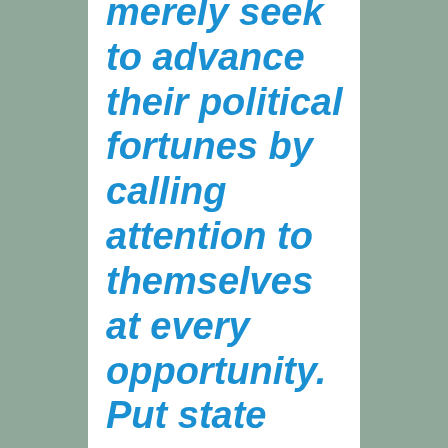merely seek to advance their political fortunes by calling attention to themselves at every opportunity. Put state